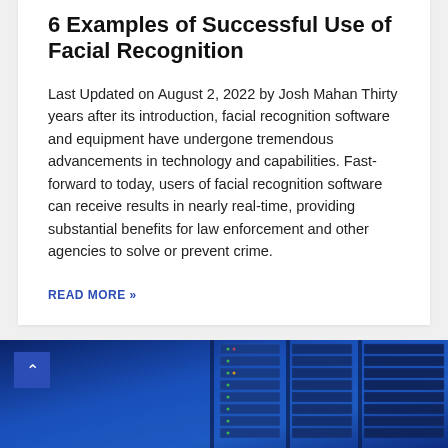6 Examples of Successful Use of Facial Recognition
Last Updated on August 2, 2022 by Josh Mahan Thirty years after its introduction, facial recognition software and equipment have undergone tremendous advancements in technology and capabilities. Fast-forward to today, users of facial recognition software can receive results in nearly real-time, providing substantial benefits for law enforcement and other agencies to solve or prevent crime.
READ MORE »
[Figure (photo): Photo of server racks with blue-lit data center equipment, partially visible at the bottom of the page]